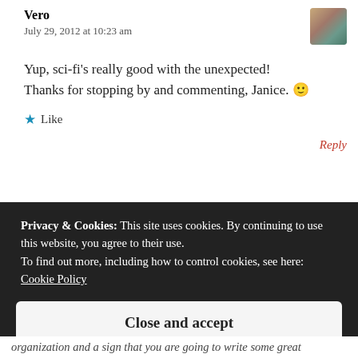Vero
July 29, 2012 at 10:23 am
Yup, sci-fi's really good with the unexpected! Thanks for stopping by and commenting, Janice. 🙂
★ Like
Reply
Privacy & Cookies: This site uses cookies. By continuing to use this website, you agree to their use.
To find out more, including how to control cookies, see here:
Cookie Policy
Close and accept
organization and a sign that you are going to write some great